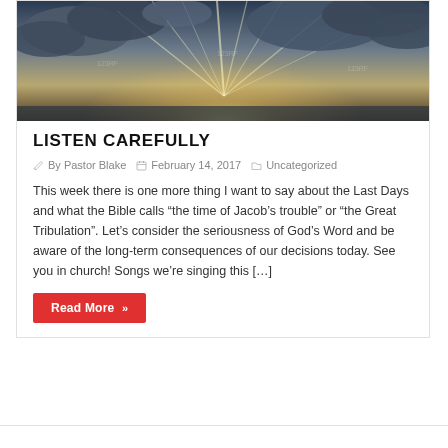[Figure (photo): Dramatic sky with sun rays breaking through storm clouds over water, stock photo with 123RF watermark]
LISTEN CAREFULLY
By Pastor Blake   February 14, 2017   Uncategorized
This week there is one more thing I want to say about the Last Days and what the Bible calls “the time of Jacob’s trouble” or “the Great Tribulation”. Let’s consider the seriousness of God’s Word and be aware of the long-term consequences of our decisions today. See you in church! Songs we’re singing this […]
Read More »